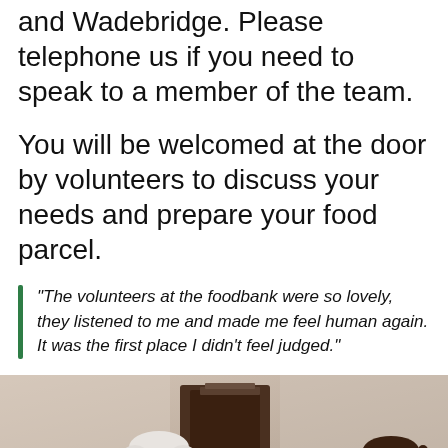and Wadebridge. Please telephone us if you need to speak to a member of the team.
You will be welcomed at the door by volunteers to discuss your needs and prepare your food parcel.
“The volunteers at the foodbank were so lovely, they listened to me and made me feel human again. It was the first place I didn’t feel judged.”
[Figure (photo): Photo of an elderly man with white hair and glasses in a green shirt, sitting across from a woman with dark hair, in what appears to be a church or community hall interior.]